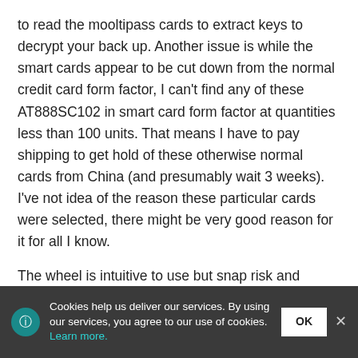to read the mooltipass cards to extract keys to decrypt your back up. Another issue is while the smart cards appear to be cut down from the normal credit card form factor, I can't find any of these AT888SC102 in smart card form factor at quantities less than 100 units. That means I have to pay shipping to get hold of these otherwise normal cards from China (and presumably wait 3 weeks). I've not idea of the reason these particular cards were selected, there might be very good reason for it for all I know.
The wheel is intuitive to use but snap risk and seems to be the most likely point of failure for the device. Would 3 buttons be so awful? Or even 2 buttons like a ledger or
Cookies help us deliver our services. By using our services, you agree to our use of cookies. Learn more. OK